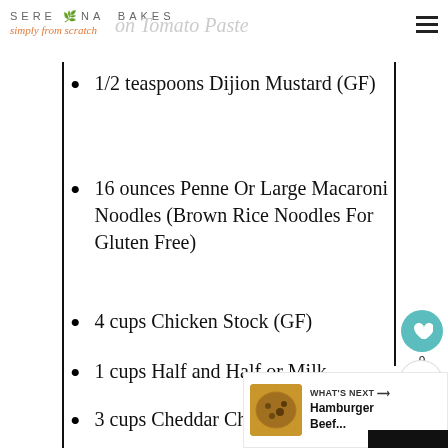Serena Bakes simply from scratch
1/2 teaspoons Dijion Mustard (GF)
16 ounces Penne Or Large Macaroni Noodles (Brown Rice Noodles For Gluten Free)
4 cups Chicken Stock (GF)
1 cups Half and Half or Milk
3 cups Cheddar Cheese,